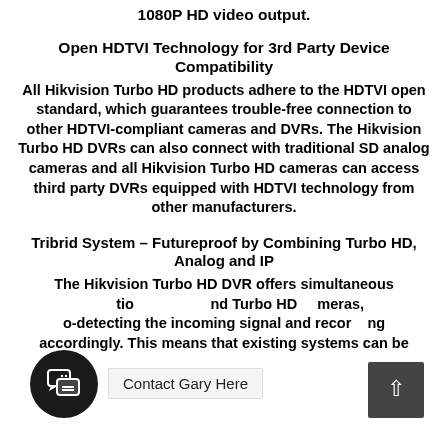1080P HD video output.
Open HDTVI Technology for 3rd Party Device Compatibility
All Hikvision Turbo HD products adhere to the HDTVI open standard, which guarantees trouble-free connection to other HDTVI-compliant cameras and DVRs. The Hikvision Turbo HD DVRs can also connect with traditional SD analog cameras and all Hikvision Turbo HD cameras can access third party DVRs equipped with HDTVI technology from other manufacturers.
Tribrid System – Futureproof by Combining Turbo HD, Analog and IP
The Hikvision Turbo HD DVR offers simultaneous ...tio... and Turbo HD cameras, ...o-detecting the incoming signal and recording accordingly. This means that existing systems can be